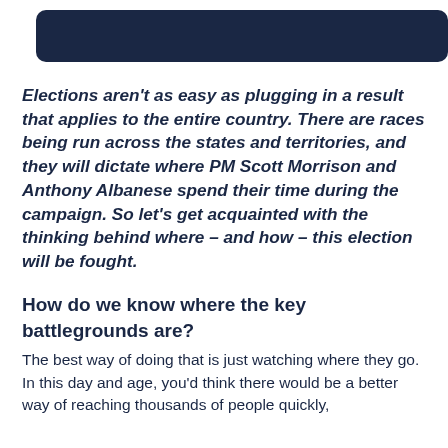[Figure (other): Dark navy blue rounded rectangle header bar]
Elections aren't as easy as plugging in a result that applies to the entire country. There are races being run across the states and territories, and they will dictate where PM Scott Morrison and Anthony Albanese spend their time during the campaign. So let's get acquainted with the thinking behind where – and how – this election will be fought.
How do we know where the key battlegrounds are?
The best way of doing that is just watching where they go. In this day and age, you'd think there would be a better way of reaching thousands of people quickly,